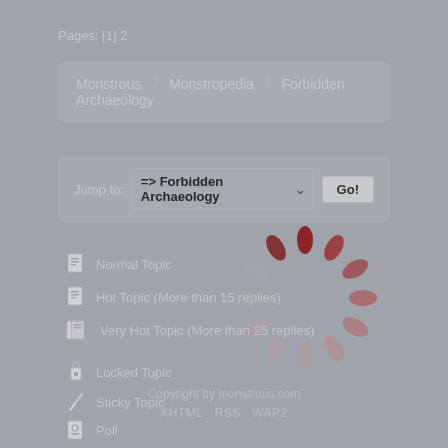Pages: [1] 2
Monstrous / Monstropedia / Forbidden Archaeology
Jump to: => Forbidden Archaeology  Go!
Normal Topic
Hot Topic (More than 15 replies)
Very Hot Topic (More than 25 replies)
Locked Topic
Sticky Topic
Poll
[Figure (illustration): Circular loading spinner animation with red/dark-red oval shapes arranged in a circle on gray background]
Copyright by monstrous.com
XHTML  RSS  WAP2